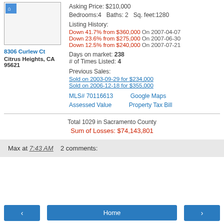[Figure (photo): Small property listing photo thumbnail, partially cropped, with blue icon in top-left corner]
8306 Curlew Ct
Citrus Heights, CA 95621
Asking Price: $210,000
Bedrooms:4  Baths: 2  Sq. feet:1280
Listing History:
Down 41.7% from $360,000 On 2007-04-07
Down 23.6% from $275,000 On 2007-06-30
Down 12.5% from $240,000 On 2007-07-21
Days on market: 238
# of Times Listed: 4
Previous Sales:
Sold on 2003-09-29 for $234,000
Sold on 2006-12-18 for $355,000
MLS# 70116613    Google Maps
Assessed Value    Property Tax Bill
Total 1029 in Sacramento County
Sum of Losses: $74,143,801
Max at 7:43 AM    2 comments:
‹    Home    ›